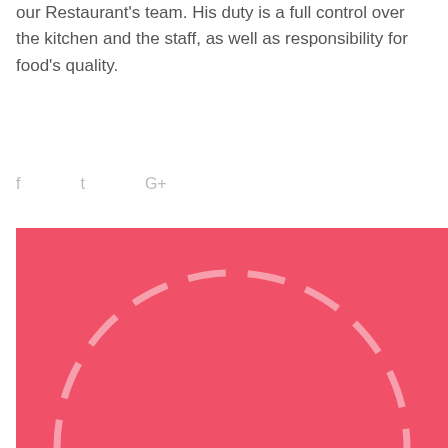our Restaurant's team. His duty is a full control over the kitchen and the staff, as well as responsibility for food's quality.
f  t  G+
[Figure (illustration): Red/coral background with a dashed circle outline drawn in lighter pink/white dashes. The circle is partially visible, showing the upper arc with dashes, and vertical dashes on both sides going down.]